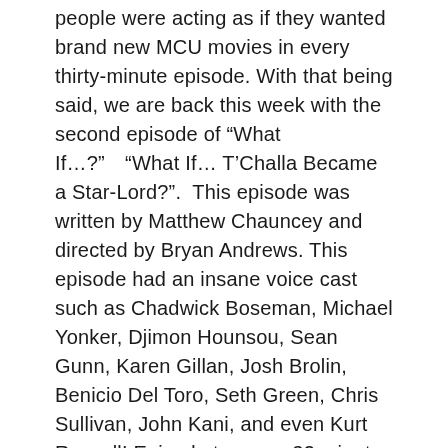people were acting as if they wanted brand new MCU movies in every thirty-minute episode. With that being said, we are back this week with the second episode of “What If…?”  “What If… T’Challa Became a Star-Lord?”.  This episode was written by Matthew Chauncey and directed by Bryan Andrews. This episode had an insane voice cast such as Chadwick Boseman, Michael Yonker, Djimon Hounsou, Sean Gunn, Karen Gillan, Josh Brolin, Benicio Del Toro, Seth Green, Chris Sullivan, John Kani, and even Kurt Russell! Episode two was 32 minutes which I think is the perfect time. I loved every minute of it. I’m very interested to check out the consensus on this one.